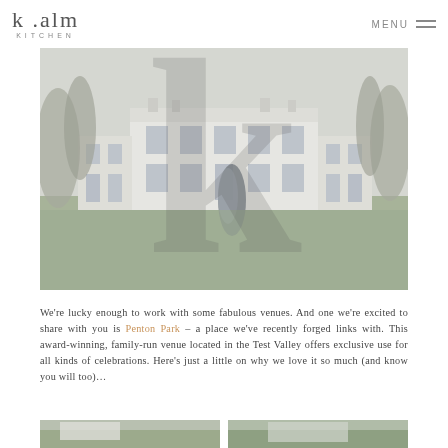k.alm KITCHEN | MENU
[Figure (photo): Wedding couple embracing in front of a large white Georgian country house with bare winter trees surrounding it. A large semi-transparent 'k' watermark overlays the image.]
We're lucky enough to work with some fabulous venues. And one we're excited to share with you is Penton Park – a place we've recently forged links with. This award-winning, family-run venue located in the Test Valley offers exclusive use for all kinds of celebrations. Here's just a little on why we love it so much (and know you will too)…
[Figure (photo): Two partial bottom thumbnail images of the venue exterior.]